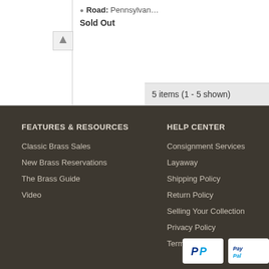Road: Pennsylvan…
Sold Out
5 items (1 - 5 shown)
FEATURES & RESOURCES
Classic Brass Sales
New Brass Reservations
The Brass Guide
Video
HELP CENTER
Consignment Services
Layaway
Shipping Policy
Return Policy
Selling Your Collection
Privacy Policy
Terms of Use
MY AC…
Login/…
Dashb…
Orders…
Chang…
Comm…
Alerts…